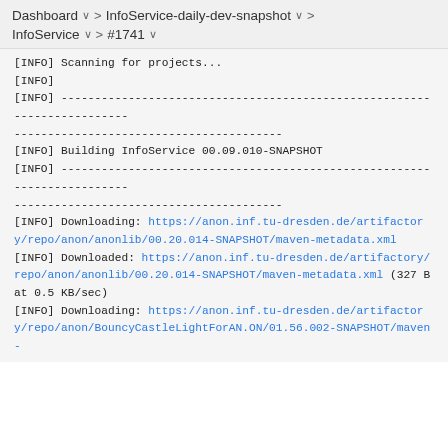Dashboard > InfoService-daily-dev-snapshot > > InfoService > #1741
[INFO] Scanning for projects...
[INFO]
[INFO] ------------------------------------------------------------------------
[INFO] Building InfoService 00.09.010-SNAPSHOT
[INFO] ------------------------------------------------------------------------
[INFO] Downloading: https://anon.inf.tu-dresden.de/artifactory/repo/anon/anonlib/00.20.014-SNAPSHOT/maven-metadata.xml
[INFO] Downloaded: https://anon.inf.tu-dresden.de/artifactory/repo/anon/anonlib/00.20.014-SNAPSHOT/maven-metadata.xml (327 B at 0.5 KB/sec)
[INFO] Downloading: https://anon.inf.tu-dresden.de/artifactory/repo/anon/BouncyCastleLightForAN.ON/01.56.002-SNAPSHOT/maven-